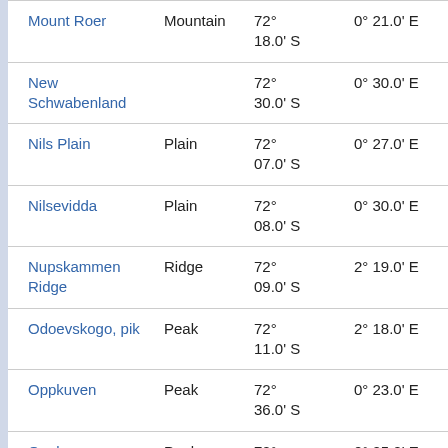| Name | Type | Latitude | Longitude | Extra |
| --- | --- | --- | --- | --- |
| Mount Roer | Mountain | 72° 18.0' S | 0° 21.0' E | 34.0 at 28… |
| New Schwabenland |  | 72° 30.0' S | 0° 30.0' E | 31.7 at 24… |
| Nils Plain | Plain | 72° 07.0' S | 0° 27.0' E | 40.9 at 31… |
| Nilsevidda | Plain | 72° 08.0' S | 0° 30.0' E | 38.4 at 31… |
| Nupskammen Ridge | Ridge | 72° 09.0' S | 2° 19.0' E | 41.1 at 55… |
| Odoevskogo, pik | Peak | 72° 11.0' S | 2° 18.0' E | 38.6 at 59… |
| Oppkuven | Peak | 72° 36.0' S | 0° 23.0' E | 41.0 at 23… |
| Oppkuven | Peak | 72° 36.0' S | 0° 25.0' E | 40.2 at 22… |